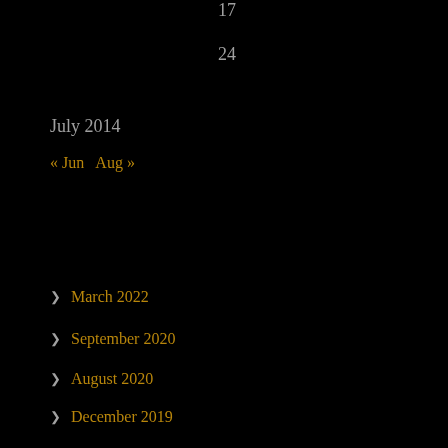17
24
July 2014
« Jun   Aug »
March 2022
September 2020
August 2020
December 2019
September 2019